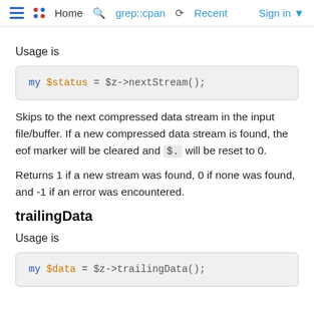Home  grep::cpan  Recent  Sign in
Usage is
[Figure (screenshot): Code block: my $status = $z->nextStream();]
Skips to the next compressed data stream in the input file/buffer. If a new compressed data stream is found, the eof marker will be cleared and $. will be reset to 0.
Returns 1 if a new stream was found, 0 if none was found, and -1 if an error was encountered.
trailingData
Usage is
[Figure (screenshot): Code block: my $data = $z->trailingData();]